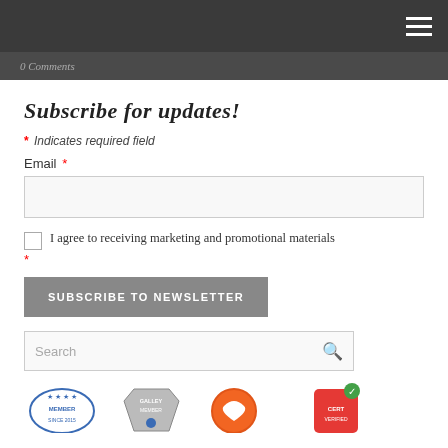0 Comments
Subscribe for updates!
* Indicates required field
Email *
I agree to receiving marketing and promotional materials *
SUBSCRIBE TO NEWSLETTER
Search
[Figure (logo): Four certification/membership badge logos at the bottom of the page]